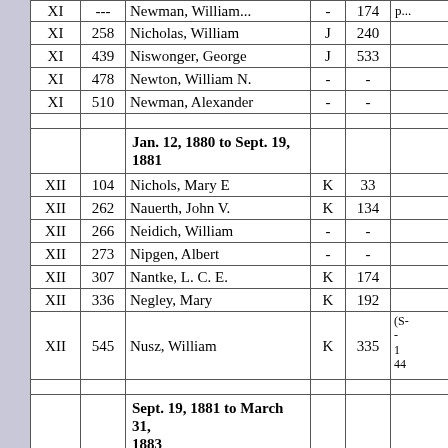| Vol | Pg | Name | Bk | Pg |  |
| --- | --- | --- | --- | --- | --- |
| XI | 258 | Nicholas, William | J | 240 |  |
| XI | 439 | Niswonger, George | J | 533 |  |
| XI | 478 | Newton, William N. | - | - |  |
| XI | 510 | Newman, Alexander | - | - |  |
|  |  |  |  |  |  |
|  |  | Jan. 12, 1880 to Sept. 19, 1881 |  |  |  |
| XII | 104 | Nichols, Mary E | K | 33 |  |
| XII | 262 | Nauerth, John V. | K | 134 |  |
| XII | 266 | Neidich, William | - | - |  |
| XII | 273 | Nipgen, Albert | - | - |  |
| XII | 307 | Nantke, L. C. E. | K | 174 |  |
| XII | 336 | Negley, Mary | K | 192 |  |
| XII | 545 | Nusz, William | K | 335 | (S-...-44 |
|  |  |  |  |  |  |
|  |  | Sept. 19, 1881 to March 31, 1883 |  |  |  |
| XIII | 212 | Newcom, Edward | - | - |  |
| XIII | 374 | ... | K | 507 |  |